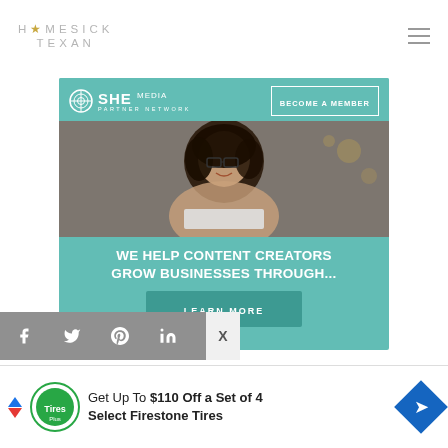HOMESICK TEXAN
[Figure (infographic): SHE Media Partner Network advertisement. Teal background with SHE Media logo and 'BECOME A MEMBER' button at top. Center photo of smiling woman with glasses using a laptop in a cafe. Bottom text: 'WE HELP CONTENT CREATORS GROW BUSINESSES THROUGH...' with a 'LEARN MORE' button.]
[Figure (infographic): Social media sharing bar with Facebook, Twitter, Pinterest, LinkedIn, and Email icon buttons in grey squares.]
[Figure (infographic): Bottom advertisement bar: 'Get Up To $110 Off a Set of 4 Select Firestone Tires' with Tires Plus logo and blue diamond navigation icon.]